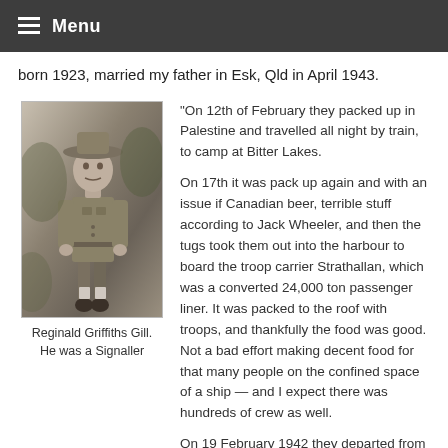Menu
born 1923, married my father in Esk, Qld in April 1943.
[Figure (photo): Black and white photograph of Reginald Griffiths Gill in military uniform, standing outdoors wearing a wide-brimmed hat.]
Reginald Griffiths Gill. He was a Signaller
"On 12th of February they packed up in Palestine and travelled all night by train, to camp at Bitter Lakes.

On 17th it was pack up again and with an issue if Canadian beer, terrible stuff according to Jack Wheeler, and then the tugs took them out into the harbour to board the troop carrier Strathallan, which was a converted 24,000 ton passenger liner. It was packed to the roof with troops, and thankfully the food was good. Not a bad effort making decent food for that many people on the confined space of a ship — and I expect there was hundreds of crew as well.

On 19 February 1942 they departed from